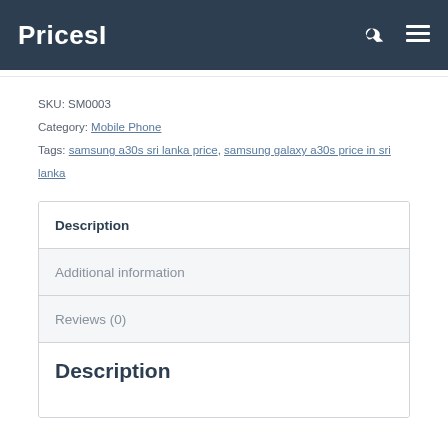PricesI
SKU: SM0003
Category: Mobile Phone
Tags: samsung a30s sri lanka price, samsung galaxy a30s price in sri lanka
Description
Additional information
Reviews (0)
Description